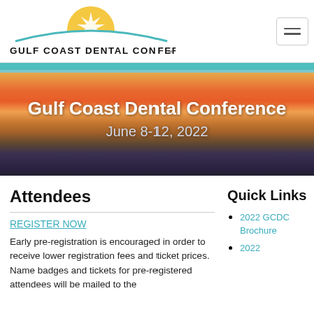[Figure (logo): Gulf Coast Dental Conference logo with sun/star and teal arch above text]
[Figure (photo): Beach sunset panorama banner with teal top stripe, showing orange and gold sky over Gulf water]
Gulf Coast Dental Conference
June 8-12, 2022
Attendees
REGISTER NOW
Early pre-registration is encouraged in order to receive lower registration fees and ticket prices. Name badges and tickets for pre-registered attendees will be mailed to the
Quick Links
2022 GCDC Brochure
2022